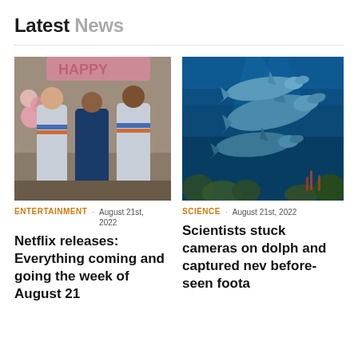Latest News
[Figure (photo): Three people in white and blue tracksuits with orange/blue stripes standing in front of pink HAPPY balloons at a party]
ENTERTAINMENT · August 21st, 2022
Netflix releases: Everything coming and going the week of August 21
[Figure (photo): Dolphins swimming underwater near coral reef in blue ocean water]
SCIENCE · August 21st, 2022
Scientists stuck cameras on dolph and captured nev before-seen foota